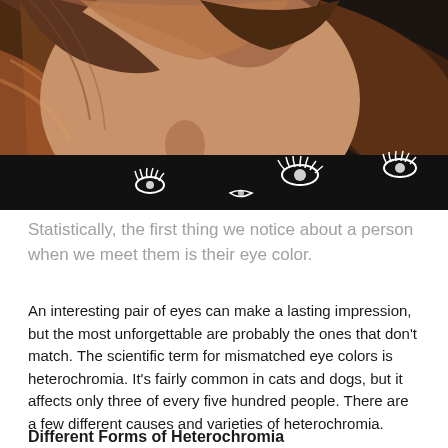[Figure (photo): Close-up photo of a young woman with brown hair looking downward, wearing a black shirt with white eye/eyelash patterns. Warm lighting on hair, dark background.]
Statistically, the first thing we notice about a person when we meet them is their eye color.
An interesting pair of eyes can make a lasting impression, but the most unforgettable are probably the ones that don't match. The scientific term for mismatched eye colors is heterochromia. It's fairly common in cats and dogs, but it affects only three of every five hundred people. There are a few different causes and varieties of heterochromia.
Different Forms of Heterochromia